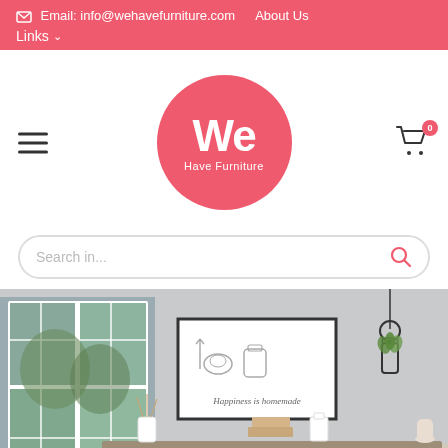Email: info@wehavefurniture.com   About Us   Links
[Figure (logo): We Have Furniture circular logo in coral/pink color with white text]
[Figure (screenshot): Search bar with placeholder text 'Search in...' and a coral search icon]
[Figure (photo): Interior room photo showing a sideboard with a framed wall art reading 'Happiness is homemade', decorative hanging planter, window with greenery outside, and kitchen accessories on the sideboard]